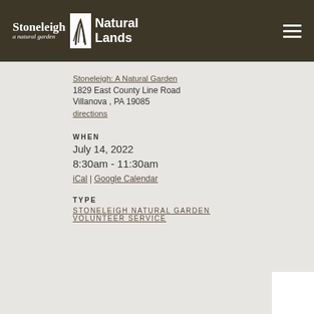Stoneleigh a natural garden | Natural Lands
Stoneleigh: A Natural Garden
1829 East County Line Road
Villanova , PA 19085
directions
WHEN
July 14, 2022
8:30am - 11:30am
iCal | Google Calendar
TYPE
STONELEIGH NATURAL GARDEN VOLUNTEER SERVICE